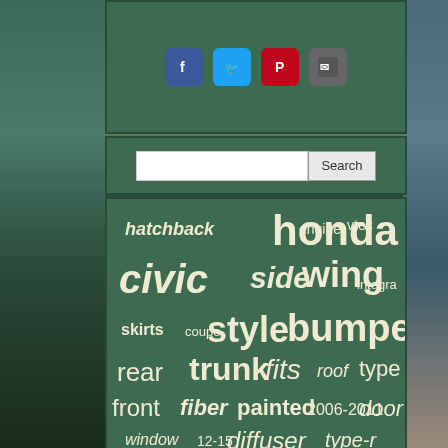[Figure (screenshot): Social share bar with Facebook, Twitter, Pinterest, and Email icons on dark green background]
[Figure (screenshot): Search bar with text input and Search button on dark green background]
[Figure (infographic): Word cloud on dark green background featuring automotive terms: honda (largest), civic, wing, bumper, style, sedan, mugen, spoiler, trunk, side, fits, fiber, painted, diffuser, type-r, 06-11, hatchback, rear, front, black, carbon, vtec, engine, integra, coupe, skirts, door, window, 2006-2011, 12-15, 96-00, unpainted, cover, roof, type]